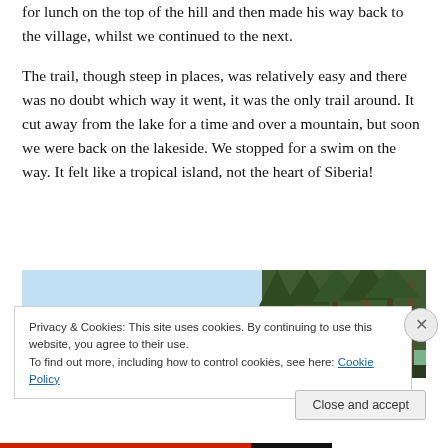for lunch on the top of the hill and then made his way back to the village, whilst we continued to the next.
The trail, though steep in places, was relatively easy and there was no doubt which way it went, it was the only trail around. It cut away from the lake for a time and over a mountain, but soon we were back on the lakeside. We stopped for a swim on the way. It felt like a tropical island, not the heart of Siberia!
[Figure (photo): Lakeside forest scene with tall pine trees against a pale blue sky, Siberia.]
Privacy & Cookies: This site uses cookies. By continuing to use this website, you agree to their use.
To find out more, including how to control cookies, see here: Cookie Policy